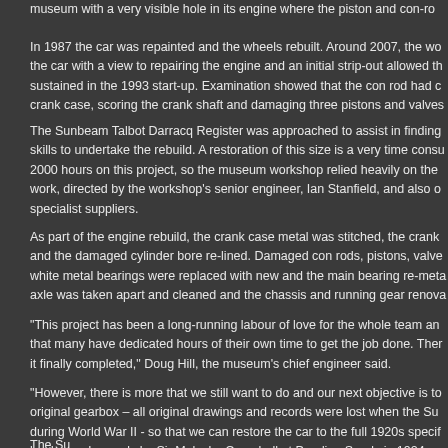museum with a very visible hole in its engine where the piston and con-rod...
In 1987 the car was repainted and the wheels rebuilt. Around 2007, the wo... the car with a view to repairing the engine and an initial strip-out allowed th... sustained in the 1993 start-up. Examination showed that the con rod had c... crank case, scoring the crank shaft and damaging three pistons and valves...
The Sunbeam Talbot Darracq Register was approached to assist in finding... skills to undertake the rebuild. A restoration of this size is a very time consu... 2000 hours on this project, so the museum workshop relied heavily on the... work, directed by the workshop's senior engineer, Ian Stanfield, and also o... specialist suppliers.
As part of the engine rebuild, the crank case metal was stitched, the crank... and the damaged cylinder bore re-lined. Damaged con rods, pistons, valve... white metal bearings were replaced with new and the main bearing re-meta... axle was taken apart and cleaned and the chassis and running gear renova...
"This project has been a long-running labour of love for the whole team an... that many have dedicated hours of their own time to get the job done. Ther... it finally completed," Doug Hill, the museum's chief engineer said.
"However, there is more that we still want to do and our next objective is to... original gearbox – all original drawings and records were lost when the Su... during World War II - so that we can restore the car to the full 1920s specif... land speed records by Sir Malcolm Campbell at Pendine Sands in 1924 ar...
The Su...